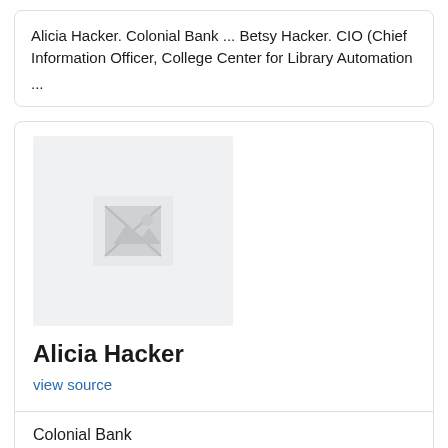Alicia Hacker. Colonial Bank ... Betsy Hacker. CIO (Chief Information Officer, College Center for Library Automation
...
[Figure (other): Broken image placeholder thumbnail — gray rectangle with broken image icon]
Alicia Hacker
view source
Colonial Bank
Myspace